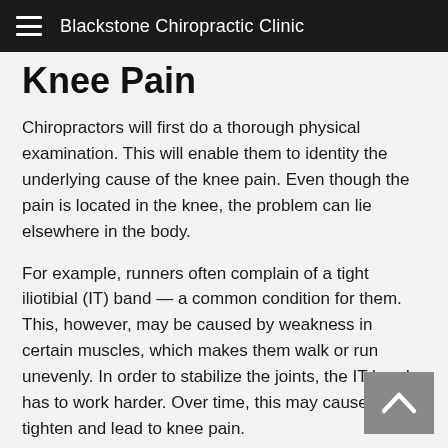Blackstone Chiropractic Clinic
Knee Pain
Chiropractors will first do a thorough physical examination. This will enable them to identity the underlying cause of the knee pain. Even though the pain is located in the knee, the problem can lie elsewhere in the body.
For example, runners often complain of a tight iliotibial (IT) band — a common condition for them. This, however, may be caused by weakness in certain muscles, which makes them walk or run unevenly. In order to stabilize the joints, the IT band has to work harder. Over time, this may cause it to tighten and lead to knee pain.
Chiropractic care may be able to relieve knee pain, especially when combined with standard medical care. Spine and joint manipulation can improve the functioning